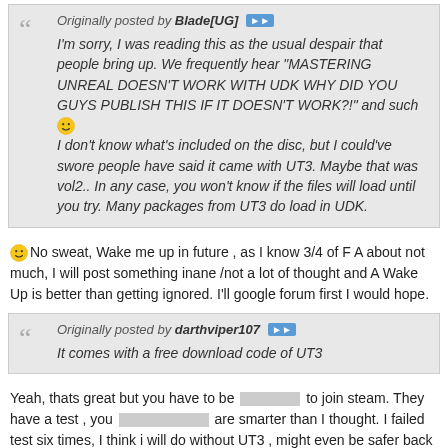Originally posted by Blade[UG] — I'm sorry, I was reading this as the usual despair that people bring up. We frequently hear "MASTERING UNREAL DOESN'T WORK WITH UDK WHY DID YOU GUYS PUBLISH THIS IF IT DOESN'T WORK?!" and such 🙂 I don't know what's included on the disc, but I could've swore people have said it came with UT3. Maybe that was vol2.. In any case, you won't know if the files will load until you try. Many packages from UT3 do load in UDK.
🙂 No sweat, Wake me up in future , as I know 3/4 of F A about not much, I will post something inane /not a lot of thought and A Wake Up is better than getting ignored. I'll google forum first I would hope.
Originally posted by darthviper107 — It comes with a free download code of UT3
Yeah, thats great but you have to be [redacted] to join steam. They have a test , you [redacted] are smarter than I thought. I failed test six times, I think i will do without UT3 , might even be safer back on my home planet.
Originally posted by flota113 — 3d buzz videos are brilliant and universal. Because if I think